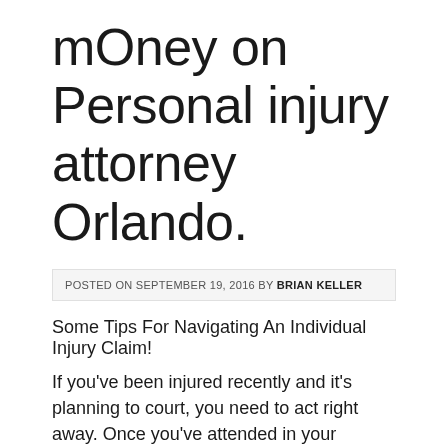mOney on Personal injury attorney Orlando.
POSTED ON SEPTEMBER 19, 2016 BY BRIAN KELLER
Some Tips For Navigating An Individual Injury Claim!
If you’ve been injured recently and it’s planning to court, you need to act right away. Once you’ve attended in your injuries, you’ll want a lawyer to assist you to create a case.
[Figure (screenshot): Video thumbnail showing Personal Injury Lawyer Service In... with dark background and red icon on left, three-dot menu on right]